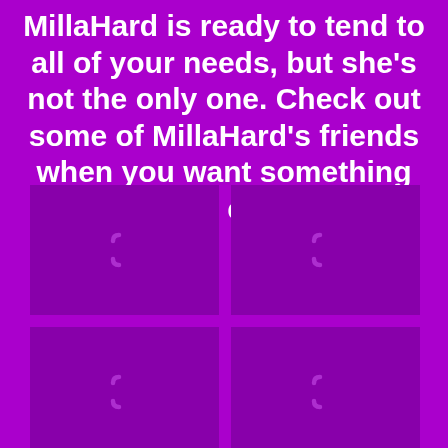MillaHard is ready to tend to all of your needs, but she's not the only one. Check out some of MillaHard's friends when you want something new and exciting.
[Figure (other): 2x3 grid of purple image placeholder tiles, each showing a loading spinner arc icon on a darker purple background]